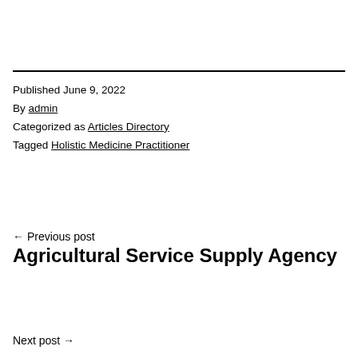Published June 9, 2022
By admin
Categorized as Articles Directory
Tagged Holistic Medicine Practitioner
← Previous post
Agricultural Service Supply Agency
Next post →